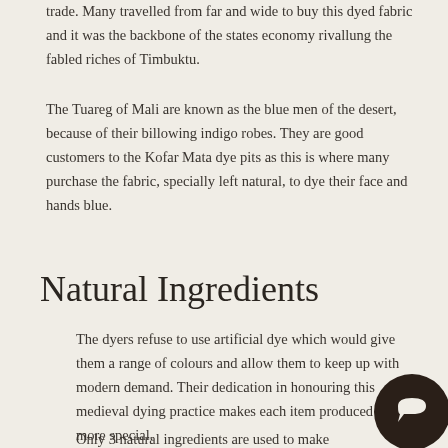trade. Many travelled from far and wide to buy this dyed fabric and it was the backbone of the states economy rivallung the fabled riches of Timbuktu.
The Tuareg of Mali are known as the blue men of the desert, because of their billowing indigo robes. They are good customers to the Kofar Mata dye pits as this is where many purchase the fabric, specially left natural, to dye their face and hands blue.
Natural Ingredients
The dyers refuse to use artificial dye which would give them a range of colours and allow them to keep up with modern demand. Their dedication in honouring this medieval dying practice makes each item produced even more special.
Only 3 natural ingredients are used to make the dye
[Figure (other): Dark circular chat/messaging bubble icon in bottom-right corner]